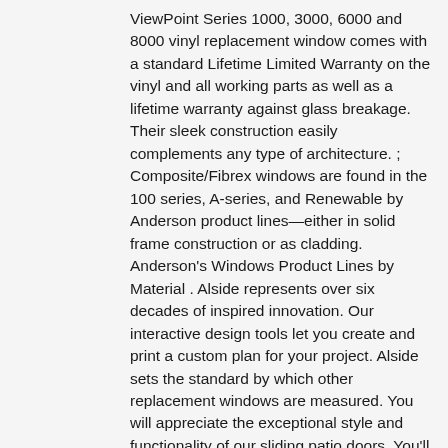ViewPoint Series 1000, 3000, 6000 and 8000 vinyl replacement window comes with a standard Lifetime Limited Warranty on the vinyl and all working parts as well as a lifetime warranty against glass breakage. Their sleek construction easily complements any type of architecture. ; Composite/Fibrex windows are found in the 100 series, A-series, and Renewable by Anderson product lines—either in solid frame construction or as cladding. Anderson's Windows Product Lines by Material . Alside represents over six decades of inspired innovation. Our interactive design tools let you create and print a custom plan for your project. Alside sets the standard by which other replacement windows are measured. You will appreciate the exceptional style and functionality of our sliding patio doors. You'll find that the combination of many styles and configurations will work well to enhance your home's appearance. The company offers an extensive line of vinyl replacement, new construction, and sliding patio doors with lifetime warranty. As an Alside dealer, I had to comment to correct the record. Beautiful to the